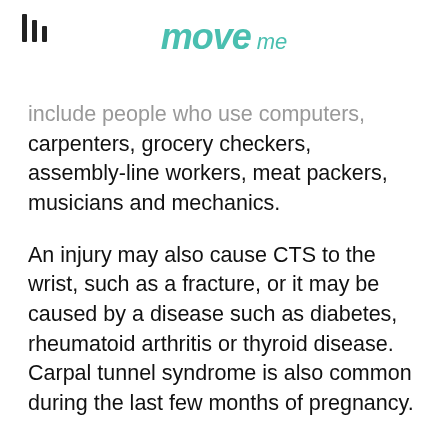move me
include people who use computers, carpenters, grocery checkers, assembly-line workers, meat packers, musicians and mechanics.
An injury may also cause CTS to the wrist, such as a fracture, or it may be caused by a disease such as diabetes, rheumatoid arthritis or thyroid disease. Carpal tunnel syndrome is also common during the last few months of pregnancy.